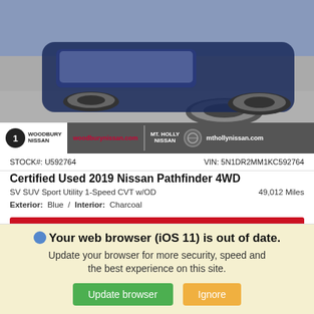[Figure (photo): Partial view of a dark blue Nissan Pathfinder SUV from front/side angle, parked on pavement]
[Figure (logo): Dealer bar showing Woodbury Nissan logo and woodburynissan.com, and Mt. Holly Nissan with mthollynissan.com]
STOCK#: U592764    VIN: 5N1DR2MM1KC592764
Certified Used 2019 Nissan Pathfinder 4WD
SV SUV Sport Utility 1-Speed CVT w/OD    49,012 Miles
Exterior: Blue / Interior: Charcoal
Sale Price $26,900
*First Name  *Last Name  *Email
Your web browser (iOS 11) is out of date. Update your browser for more security, speed and the best experience on this site.
Update browser  Ignore